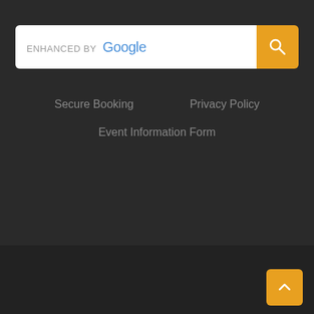[Figure (screenshot): Search bar with 'ENHANCED BY Google' text and orange search button with magnifying glass icon]
Secure Booking
Privacy Policy
Event Information Form
Funky Functions Wedding Dj Services | All images and text © 2021